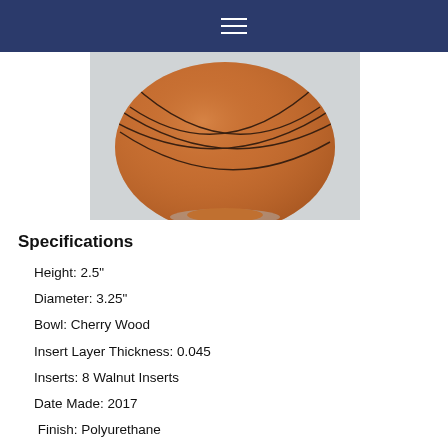≡
[Figure (photo): A round wooden bowl made of cherry wood with decorative dark walnut inserts forming a criss-cross line pattern around the upper portion of the bowl. The bowl is sitting on a light gray surface.]
Specifications
Height:  2.5"
Diameter: 3.25"
Bowl:  Cherry Wood
Insert Layer Thickness:  0.045
Inserts: 8 Walnut Inserts
Date Made:  2017
Finish: Polyurethane
Artist: John Manura